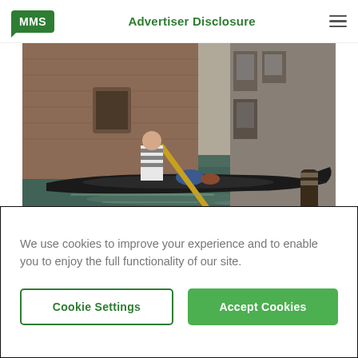MMS | Advertiser Disclosure
[Figure (photo): A gondolier in a striped shirt steering a black gondola through a narrow Venetian canal, with old brick and stone buildings lining the waterway.]
Visit Places Like Venice With Star Alliance
We use cookies to improve your experience and to enable you to enjoy the full functionality of our site.
Cookie Settings | Accept Cookies